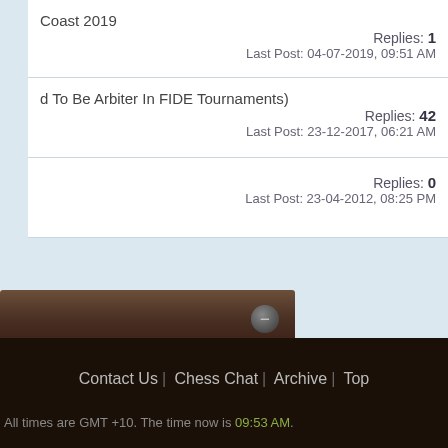Coast 2019 | Replies: 1 | Last Post: 04-07-2019, 09:51 AM
d To Be Arbiter In FIDE Tournaments) | Replies: 42 | Last Post: 23-12-2017, 06:21 AM
Replies: 0 | Last Post: 23-04-2012, 08:25 PM
[Figure (screenshot): Dark brown panel with minus/collapse button]
BB code is On
Smilies are On
[IMG] code is On
[VIDEO] code is On
HTML code is Off
Forum Rules
Contact Us | Chess Chat | Archive | Top
All times are GMT +10. The time now is 09:53 AM.